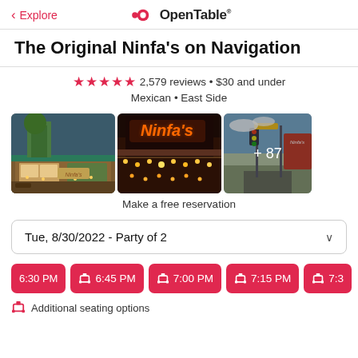< Explore | OpenTable
The Original Ninfa's on Navigation
★★★★½ 2,579 reviews • $30 and under
Mexican • East Side
[Figure (photo): Three restaurant photos: exterior evening shot, neon Ninfa's sign with string lights, street view with +87 overlay]
Make a free reservation
Tue, 8/30/2022 - Party of 2
6:30 PM  6:45 PM  7:00 PM  7:15 PM  7:3...
Additional seating options